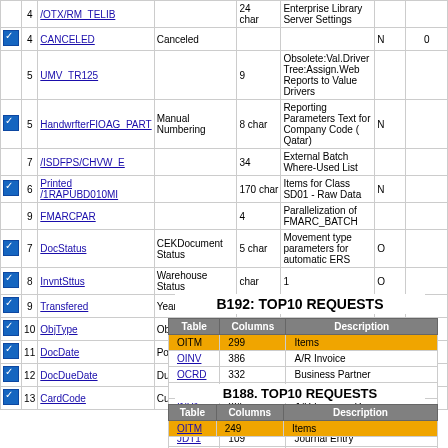|  | # | Name | Label | Type | Description |  |
| --- | --- | --- | --- | --- | --- | --- |
| ✓ | 4 | CANCELED | Canceled |  |  | N |
|  | 4 | /OTX/RM_TELIB |  | 24 char | Enterprise Library Server Settings |  |
|  | 5 | UMV_TR125 |  | 9 | Obsolete:Val.Driver Tree:Assign.Web Reports to Value Drivers |  |
| ✓ | 5 | HandwrfterFIOAG_PART | Manual Numbering | 8 char | Reporting Parameters Text for Company Code ( Qatar) | N |
|  | 7 | /ISDFPS/CHVW_E |  | 34 | External Batch Where-Used List |  |
| ✓ | 6 | Printed |  |  |  | N |
|  | 8 | /1RAPUBD010MI |  | 170 char | Items for Class SD01 - Raw Data |  |
|  | 9 | FMARCPAR |  | 4 | Parallelization of FMARC_BATCH |  |
| ✓ | 7 | DocStatus | CEKDocument Status | 5 char | Movement type parameters for automatic ERS | O |
| ✓ | 8 | InvntSttus | Warehouse Status | char | 1 | O |
| ✓ | 9 | Transfered | Year Transfer | char | 1 | N |
| ✓ | 10 | ObjType | Object Type | nvarchar | 20 | ADP1 17 |
| ✓ | 11 | DocDate | Posting Date | date | 8 |  |
| ✓ | 12 | DocDueDate | Due Date | date | 8 |  |
| ✓ | 13 | CardCode | Customer/Vendor | nvarchar | 15 | OCRD |
B192: TOP10 REQUESTS
| Table | Columns | Description |
| --- | --- | --- |
| OITM | 299 | Items |
| OINV | 386 | A/R Invoice |
| OCRD | 332 | Business Partner |
| ORDR | 386 | Sales Order |
| INV1 | 265 | A/R Invoice - Rows |
| OVTG | 52 | Tax Definition |
| JDT1 | 109 | Journal Entry |
| OPCH | 386 | A/P Invoice |
| OPOR | 386 | Purchase Order |
| JDT1 | 124 | Journal Entry - Rows |
B188: TOP10 REQUESTS
| Table | Columns | Description |
| --- | --- | --- |
| OITM | 249 | Items |